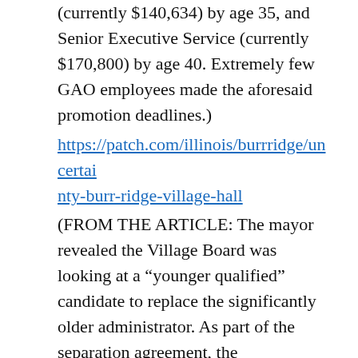(currently $140,634) by age 35, and Senior Executive Service (currently $170,800) by age 40. Extremely few GAO employees made the aforesaid promotion deadlines.)
https://patch.com/illinois/burrridge/uncertainty-burr-ridge-village-hall
(FROM THE ARTICLE: The mayor revealed the Village Board was looking at a “younger qualified” candidate to replace the significantly older administrator. As part of the separation agreement, the administrator waived his rights under the Age Discrimination in Employment Act.)
CENTER SQUARE
— Internet censorship is the left’s Fairness Doctrine. William Haupt III (PIERSEN M...